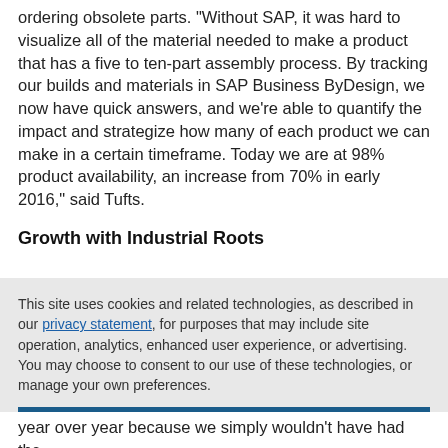ordering obsolete parts. "Without SAP, it was hard to visualize all of the material needed to make a product that has a five to ten-part assembly process. By tracking our builds and materials in SAP Business ByDesign, we now have quick answers, and we're able to quantify the impact and strategize how many of each product we can make in a certain timeframe. Today we are at 98% product availability, an increase from 70% in early 2016," said Tufts.
Growth with Industrial Roots
This site uses cookies and related technologies, as described in our privacy statement, for purposes that may include site operation, analytics, enhanced user experience, or advertising. You may choose to consent to our use of these technologies, or manage your own preferences.
Accept Cookies
More Information
Privacy Policy | Powered by: TrustArc
year over year because we simply wouldn't have had the